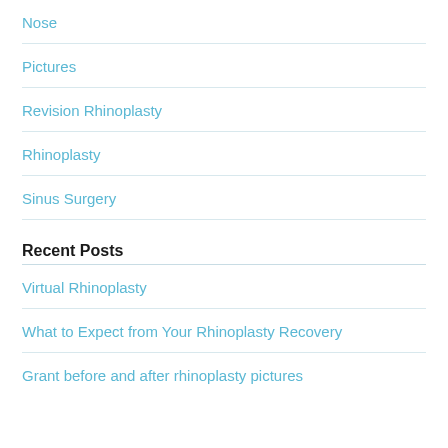Nose
Pictures
Revision Rhinoplasty
Rhinoplasty
Sinus Surgery
Recent Posts
Virtual Rhinoplasty
What to Expect from Your Rhinoplasty Recovery
Grant before and after rhinoplasty pictures